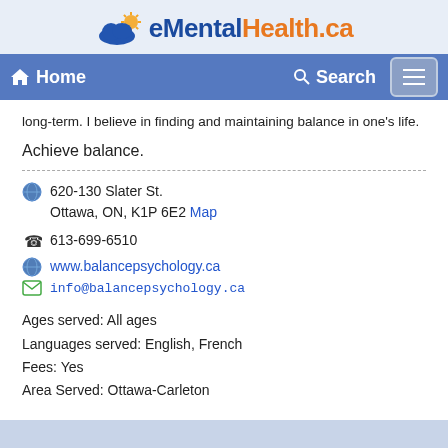[Figure (logo): eMentalHealth.ca logo with cloud and sun icon]
Home  Search
long-term. I believe in finding and maintaining balance in one's life.
Achieve balance.
620-130 Slater St.
Ottawa, ON, K1P 6E2 Map
613-699-6510
www.balancepsychology.ca
info@balancepsychology.ca
Ages served: All ages
Languages served: English, French
Fees: Yes
Area Served: Ottawa-Carleton